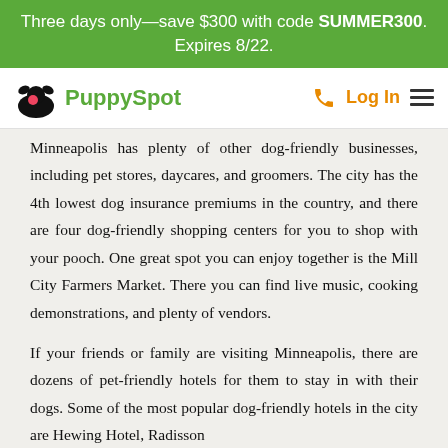Three days only—save $300 with code SUMMER300. Expires 8/22.
[Figure (logo): PuppySpot logo with dog icon, phone icon, Log In link, and hamburger menu]
Minneapolis has plenty of other dog-friendly businesses, including pet stores, daycares, and groomers. The city has the 4th lowest dog insurance premiums in the country, and there are four dog-friendly shopping centers for you to shop with your pooch. One great spot you can enjoy together is the Mill City Farmers Market. There you can find live music, cooking demonstrations, and plenty of vendors.
If your friends or family are visiting Minneapolis, there are dozens of pet-friendly hotels for them to stay in with their dogs. Some of the most popular dog-friendly hotels in the city are Hewing Hotel, Radisson